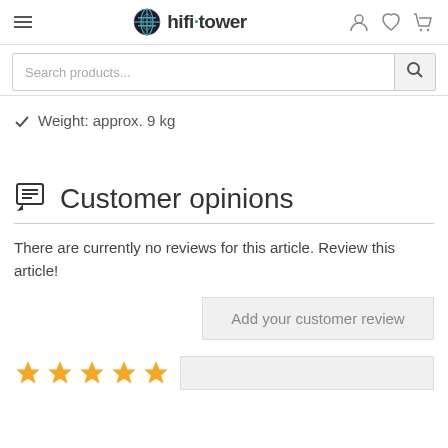hifi tower
Weight: approx. 9 kg
Customer opinions
There are currently no reviews for this article. Review this article!
Add your customer review
[Figure (other): Five gold star rating icons]